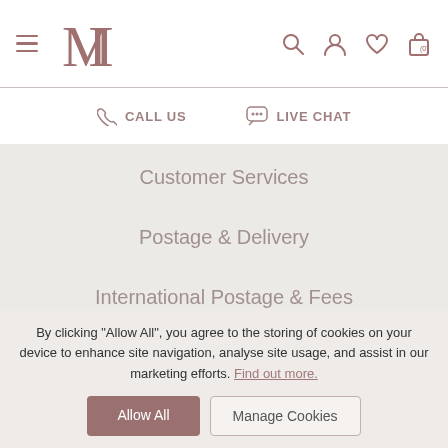MT logo with hamburger menu, search, account, wishlist, basket (0) icons
CALL US | LIVE CHAT
Customer Services
Postage & Delivery
International Postage & Fees
Returns
FAQ's
Secure Shopping
Site Map
By clicking "Allow All", you agree to the storing of cookies on your device to enhance site navigation, analyse site usage, and assist in our marketing efforts. Find out more.
Allow All
Manage Cookies